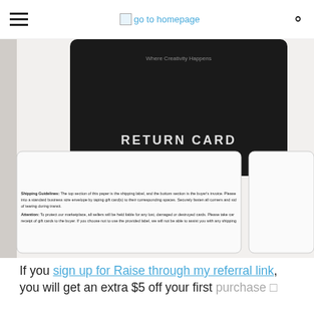go to homepage
[Figure (photo): A close-up photo of a return card (black card with white text 'RETURN CARD') on top of a white shipping document that shows Shipping Guidelines and Attention notices about seller liability for lost or damaged gift cards.]
If you sign up for Raise through my referral link, you will get an extra $5 off your first purchase []